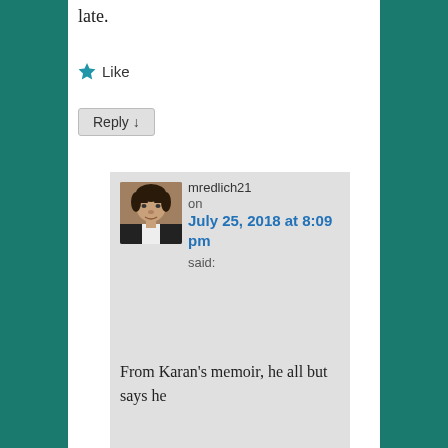late.
★ Like
Reply ↓
mredlich21 on July 25, 2018 at 8:09 pm said:
From Karan's memoir, he all but says he